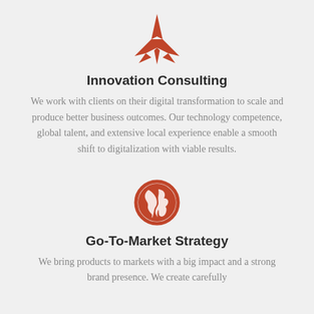[Figure (illustration): Orange jet fighter / plane icon pointing upward]
Innovation Consulting
We work with clients on their digital transformation to scale and produce better business outcomes. Our technology competence, global talent, and extensive local experience enable a smooth shift to digitalization with viable results.
[Figure (illustration): Orange globe / world icon with circle border]
Go-To-Market Strategy
We bring products to markets with a big impact and a strong brand presence. We create carefully